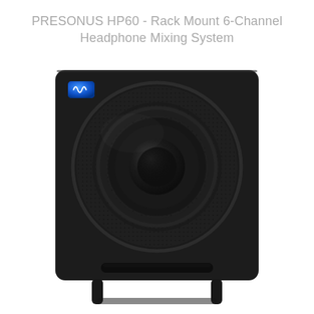PRESONUS HP60 - Rack Mount 6-Channel Headphone Mixing System
[Figure (photo): Front view of a PreSonus studio monitor speaker (black cabinet with large circular woofer, blue PreSonus logo badge top-left, port slot at bottom) shown against a white background. The product is labeled as PRESONUS HP60 Rack Mount 6-Channel Headphone Mixing System.]